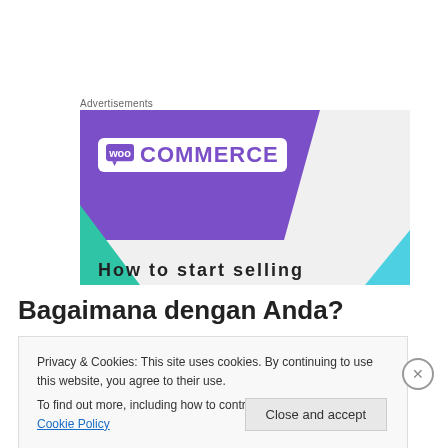Advertisements
[Figure (screenshot): WooCommerce advertisement banner with purple background, WooCommerce logo, green and blue triangles, and partially visible text 'How to start selling']
Bagaimana dengan Anda?
Privacy & Cookies: This site uses cookies. By continuing to use this website, you agree to their use.
To find out more, including how to control cookies, see here: Cookie Policy
Close and accept